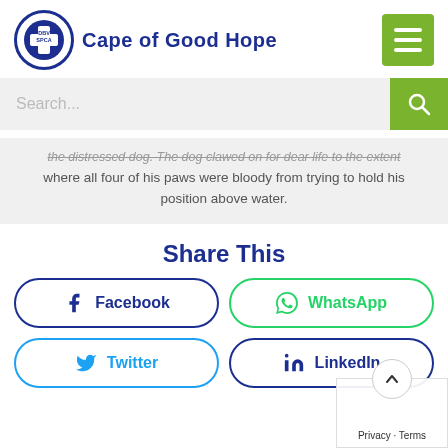[Figure (logo): DBV SPCA logo circle with cross, next to 'Cape of Good Hope' text, and hamburger menu green button on right]
[Figure (screenshot): Search bar with placeholder 'Search...' and green search button]
the distressed dog. The dog clawed on for dear life to the extent where all four of his paws were bloody from trying to hold his position above water.
Share This
Facebook
WhatsApp
Twitter
LinkedIn